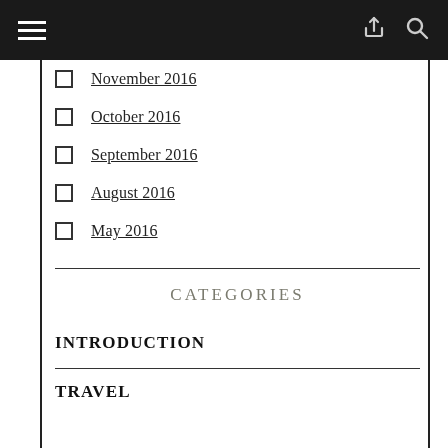Navigation bar with hamburger menu, share icon, and search icon
November 2016
October 2016
September 2016
August 2016
May 2016
CATEGORIES
INTRODUCTION
TRAVEL